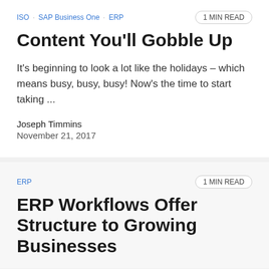ISO · SAP Business One · ERP  |  1 MIN READ
Content You'll Gobble Up
It's beginning to look a lot like the holidays – which means busy, busy, busy! Now's the time to start taking ...
Joseph Timmins
November 21, 2017
ERP  |  1 MIN READ
ERP Workflows Offer Structure to Growing Businesses